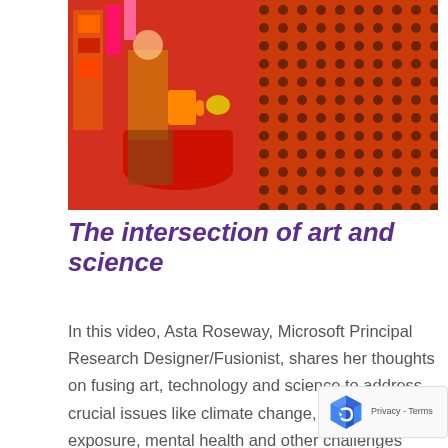[Figure (photo): A person sitting at a red table with orange and red items, surrounded by an orange dotted/perforated wall background. Colorful fashion setting with red and pink objects.]
The intersection of art and science
In this video, Asta Roseway, Microsoft Principal Research Designer/Fusionist, shares her thoughts on fusing art, technology and science to address crucial issues like climate change, pollution exposure, mental health and other challenges currently facing society. Asta shares about innovative creations such as speaking to plants with red light and blue light, wind chimes that create different sounds based on air